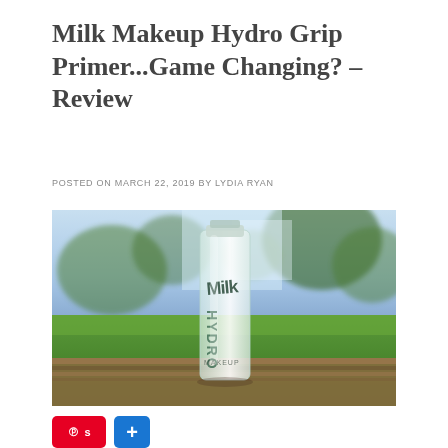Milk Makeup Hydro Grip Primer...Game Changing? – Review
POSTED ON MARCH 22, 2019 BY LYDIA RYAN
[Figure (photo): Milk Makeup Hydro Grip Primer bottle placed on a wooden surface outdoors with a blurred green park background. The clear bottle shows the Milk HYDRO branding.]
[Figure (other): Social sharing buttons: Pinterest save button (red) and a blue plus button]